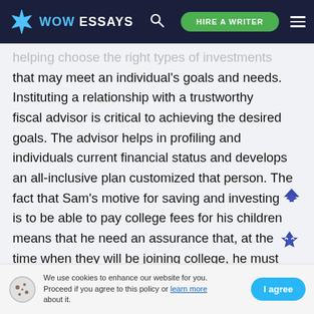[Figure (logo): WOW Essays website header with logo, search icon, Hire a Writer button, and hamburger menu on dark navy background]
helping choose the right types of investments that may meet an individual's goals and needs. Instituting a relationship with a trustworthy fiscal advisor is critical to achieving the desired goals. The advisor helps in profiling and individuals current financial status and develops an all-inclusive plan customized that person. The fact that Sam's motive for saving and investing is to be able to pay college fees for his children means that he need an assurance that, at the time when they will be joining college, he must have the fees. This requires him to go for
We use cookies to enhance our website for you. Proceed if you agree to this policy or learn more about it.   I agree